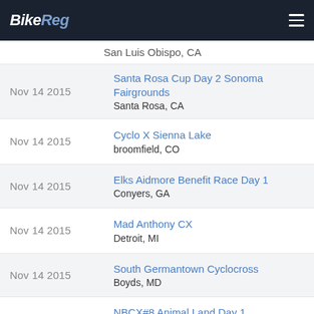BikeReg
San Luis Obispo, CA
Nov 14 2015 — Santa Rosa Cup Day 2 Sonoma Fairgrounds, Santa Rosa, CA
Nov 14 2015 — Cyclo X Sienna Lake, broomfield, CO
Nov 14 2015 — Elks Aidmore Benefit Race Day 1, Conyers, GA
Nov 14 2015 — Mad Anthony CX, Detroit, MI
Nov 14 2015 — South Germantown Cyclocross, Boyds, MD
Nov 14 2015 — NBCX#8 Animal Land Day 1, Sussex, NB